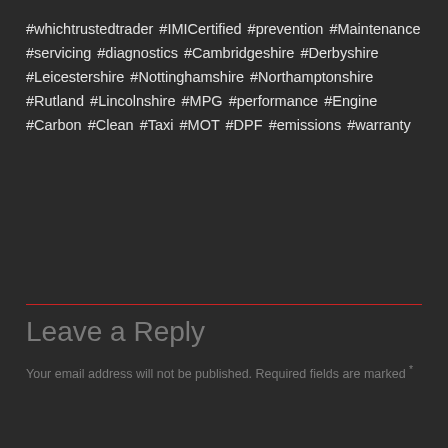#whichtrustedtrader #IMICertified #prevention #Maintenance #servicing #diagnostics #Cambridgeshire #Derbyshire #Leicestershire #Nottinghamshire #Northamptonshire #Rutland #Lincolnshire #MPG #performance #Engine #Carbon #Clean #Taxi #MOT #DPF #emissions #warranty
Leave a Reply
Your email address will not be published. Required fields are marked *